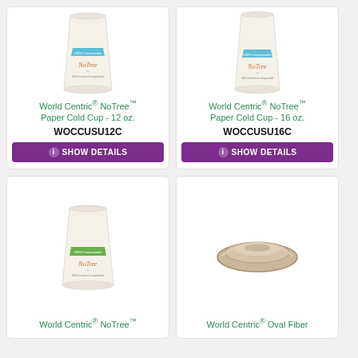[Figure (photo): World Centric NoTree Paper Cold Cup 12 oz - white paper cup with blue stripe and NoTree logo]
World Centric® NoTree™ Paper Cold Cup - 12 oz.
WOCCUSU12C
SHOW DETAILS
[Figure (photo): World Centric NoTree Paper Cold Cup 16 oz - white paper cup with blue stripe and NoTree logo]
World Centric® NoTree™ Paper Cold Cup - 16 oz.
WOCCUSU16C
SHOW DETAILS
[Figure (photo): World Centric NoTree Paper cup with green stripe - larger size]
World Centric® NoTree™
[Figure (photo): World Centric Oval Fiber bowl - tan/natural fiber color]